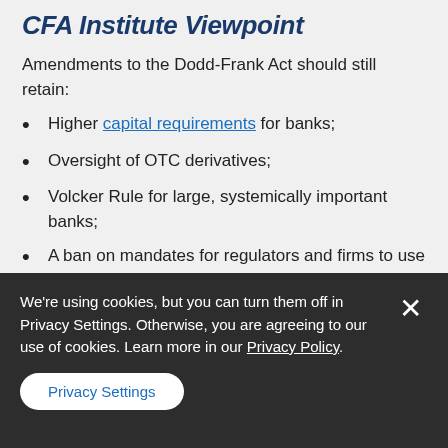CFA Institute Viewpoint
Amendments to the Dodd-Frank Act should still retain:
Higher capital requirements for banks;
Oversight of OTC derivatives;
Volcker Rule for large, systemically important banks;
A ban on mandates for regulators and firms to use ratings of nationally recognized statistical
We're using cookies, but you can turn them off in Privacy Settings. Otherwise, you are agreeing to our use of cookies. Learn more in our Privacy Policy.
Privacy Settings